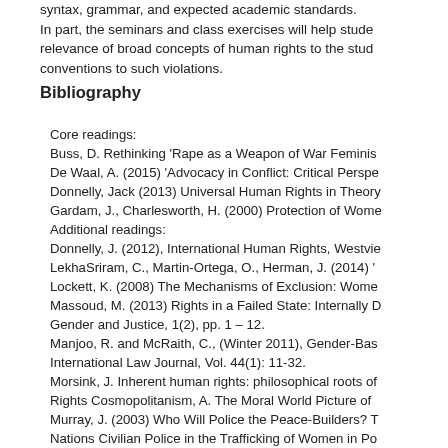syntax, grammar, and expected academic standards. In part, the seminars and class exercises will help students understand the relevance of broad concepts of human rights to the study of... conventions to such violations.
Bibliography
Core readings:
Buss, D. Rethinking 'Rape as a Weapon of War Feminist...
De Waal, A. (2015) 'Advocacy in Conflict: Critical Perspe...
Donnelly, Jack (2013) Universal Human Rights in Theory...
Gardam, J., Charlesworth, H. (2000) Protection of Wome...
Additional readings:
Donnelly, J. (2012), International Human Rights, Westvie...
LekhaSriram, C., Martin-Ortega, O., Herman, J. (2014) '...
Lockett, K. (2008) The Mechanisms of Exclusion: Wome...
Massoud, M. (2013) Rights in a Failed State: Internally D... Gender and Justice, 1(2), pp. 1 – 12.
Manjoo, R. and McRaith, C., (Winter 2011), Gender-Bas... International Law Journal, Vol. 44(1): 11-32.
Morsink, J. Inherent human rights: philosophical roots of... Rights Cosmopolitanism, A. The Moral World Picture of...
Murray, J. (2003) Who Will Police the Peace-Builders? T... Nations Civilian Police in the Trafficking of Women in Po... 34. 475. 2002-2003. 475-527. (available on-line – acce...